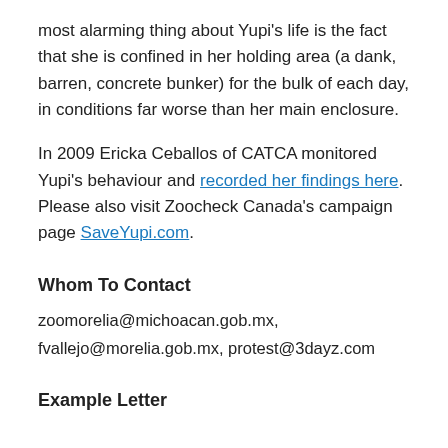most alarming thing about Yupi's life is the fact that she is confined in her holding area (a dank, barren, concrete bunker) for the bulk of each day, in conditions far worse than her main enclosure.
In 2009 Ericka Ceballos of CATCA monitored Yupi's behaviour and recorded her findings here. Please also visit Zoocheck Canada's campaign page SaveYupi.com.
Whom To Contact
zoomorelia@michoacan.gob.mx, fvallejo@morelia.gob.mx, protest@3dayz.com
Example Letter